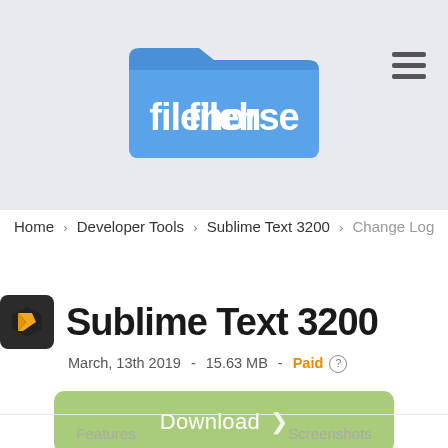[Figure (logo): Filehorse logo — blue folder icon with white 'filehorse' text and a horse silhouette replacing the 'o']
Home › Developer Tools › Sublime Text 3200 › Change Log
Sublime Text 3200
March, 13th 2019  -  15.63 MB  -  Paid
[Figure (other): Green Download button with loading indicator arrow]
Security Status
Features
Screenshots